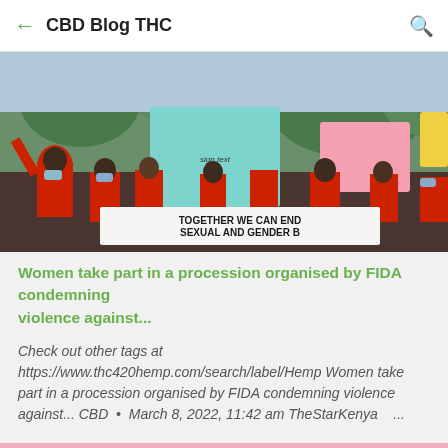CBD Blog THC
[Figure (photo): Women in red shirts marching in a procession holding signs including one reading 'TOGETHER WE CAN END SEXUAL AND GENDER B...' and colorful banners, some wearing masks.]
Women take part in a procession organised by FIDA condemning violence against...
Check out other tags at https://www.thc420hemp.com/search/label/Hemp Women take part in a procession organised by FIDA condemning violence against... CBD • March 8, 2022, 11:42 am TheStarKenya ...
[Figure (photo): Pink background with scattered dark dots/specks, partial view at bottom of page.]